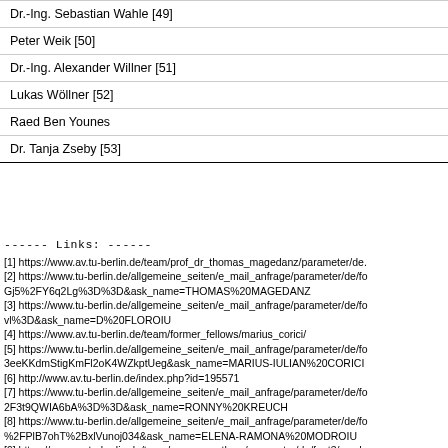| Dr.-Ing. Sebastian Wahle [49] |
| Peter Weik [50] |
| Dr.-Ing. Alexander Willner [51] |
| Lukas Wöllner [52] |
| Raed Ben Younes |
| Dr. Tanja Zseby [53] |
------ Links: ------
[1] https://www.av.tu-berlin.de/team/prof_dr_thomas_magedanz/parameter/de.
[2] https://www.tu-berlin.de/allgemeine_seiten/e_mail_anfrage/parameter/de/fo
Gj5%2FY6q2Lg%3D%3D&ask_name=THOMAS%20MAGEDANZ
[3] https://www.tu-berlin.de/allgemeine_seiten/e_mail_anfrage/parameter/de/fo
vl%3D&ask_name=D%20FLOROIU
[4] https://www.av.tu-berlin.de/team/former_fellows/marius_corici/
[5] https://www.tu-berlin.de/allgemeine_seiten/e_mail_anfrage/parameter/de/fo
3eeKKdmStigKmFl2oK4WZkptUeg&ask_name=MARIUS-IULIAN%20CORICI
[6] http://www.av.tu-berlin.de/index.php?id=195571
[7] https://www.tu-berlin.de/allgemeine_seiten/e_mail_anfrage/parameter/de/fo
2F3t9QWIA6bA%3D%3D&ask_name=RONNY%20KREUCH
[8] https://www.tu-berlin.de/allgemeine_seiten/e_mail_anfrage/parameter/de/fo
%2FPlB7ohT%2BxlVunoj034&ask_name=ELENA-RAMONA%20MODROIU
[9] https://www.av.tu-berlin.de/team/varun_gowtham/parameter/de/font3/maxh
[10] https://www.tu-berlin.de/allgemeine_seiten/e_mail_anfrage/parameter/de/
BETi9o%3D&ask_name=V%20GOWTHAM
[11] https://www.tu-berlin.de/allgemeine_seiten/e_mail_anfrage/parameter/de/
6%2FLc%3D&ask_name=B%20LE
[12] https://www.av.tu-berlin.de/team/former_fellows/stephan_albrecht/parame